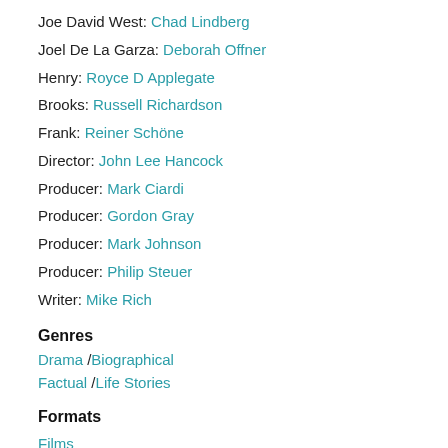Joe David West: Chad Lindberg
Joel De La Garza: Deborah Offner
Henry: Royce D Applegate
Brooks: Russell Richardson
Frank: Reiner Schöne
Director: John Lee Hancock
Producer: Mark Ciardi
Producer: Gordon Gray
Producer: Mark Johnson
Producer: Philip Steuer
Writer: Mike Rich
Genres
Drama / Biographical Factual / Life Stories
Formats
Films